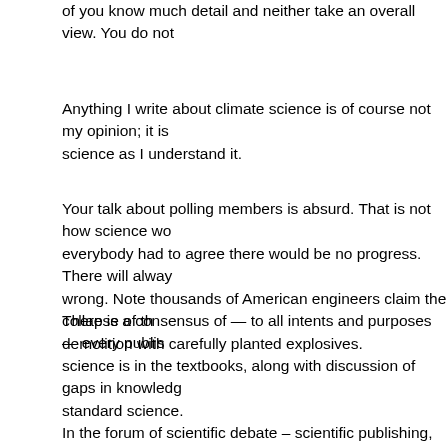of you know much detail and neither take an overall view. You do not
Anything I write about climate science is of course not my opinion; it is science as I understand it.
Your talk about polling members is absurd. That is not how science wo everybody had to agree there would be no progress. There will alway wrong. Note thousands of American engineers claim the collapse of th demolition with carefully planted explosives.
There is a consensus of — to all intents and purposes — every publis science is in the textbooks, along with discussion of gaps in knowledg standard science.
In the forum of scientific debate – scientific publishing, peer-reviewed
Anthropogenic Global Warming is one of the most examined theories studied by tens of thousands of experts all around the world, in many same direction: Earth is warming and ice is melting. As predicted.
Even a dozen qualified scientists waffling on blogs and in newspapers